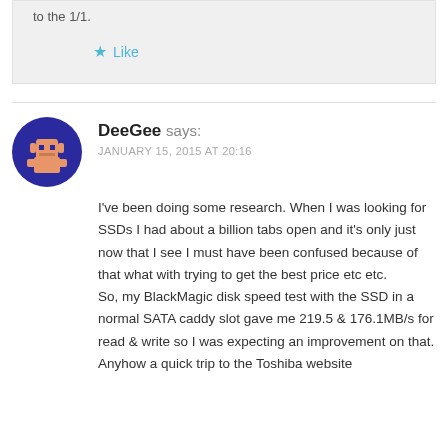to the 1/1.
Like
DeeGee says:
JANUARY 15, 2015 AT 20:16
[Figure (illustration): Pixel art avatar of DeeGee — dark blue circle background with an orange/peach pixel character face]
I've been doing some research. When I was looking for SSDs I had about a billion tabs open and it's only just now that I see I must have been confused because of that what with trying to get the best price etc etc.
So, my BlackMagic disk speed test with the SSD in a normal SATA caddy slot gave me 219.5 & 176.1MB/s for read & write so I was expecting an improvement on that.
Anyhow a quick trip to the Toshiba website